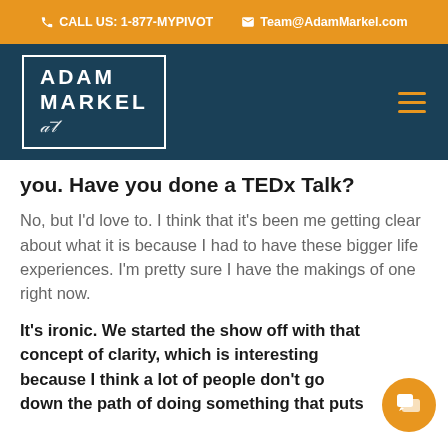CALL US: 1-877-MYPIVOT  Team@AdamMarkel.com
[Figure (logo): Adam Markel logo in a white-bordered box with signature, on dark teal navigation bar]
you. Have you done a TEDx Talk?
No, but I'd love to. I think that it's been me getting clear about what it is because I had to have these bigger life experiences. I'm pretty sure I have the makings of one right now.
It's ironic. We started the show off with that concept of clarity, which is interesting because I think a lot of people don't go down the path of doing something that puts